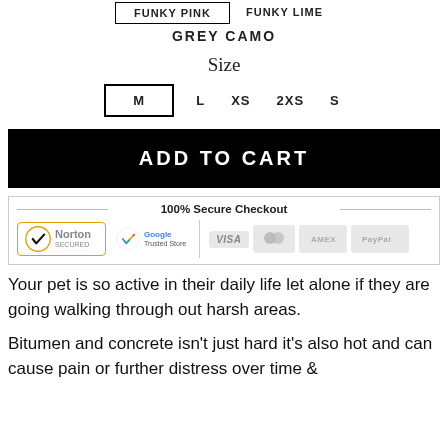FUNKY PINK | FUNKY LIME
GREY CAMO
Size
M  L  XS  2XS  S
ADD TO CART
[Figure (other): 100% Secure Checkout trust badges: Norton Secured, Google Trusted Store, Visa, Mastercard, American Express, PayPal]
Your pet is so active in their daily life let alone if they are going walking through out harsh areas.
Bitumen and concrete isn't just hard it's also hot and can cause pain or further distress over time &